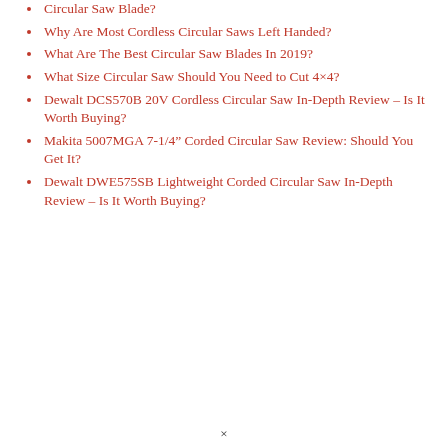Circular Saw Blade?
Why Are Most Cordless Circular Saws Left Handed?
What Are The Best Circular Saw Blades In 2019?
What Size Circular Saw Should You Need to Cut 4×4?
Dewalt DCS570B 20V Cordless Circular Saw In-Depth Review – Is It Worth Buying?
Makita 5007MGA 7-1/4″ Corded Circular Saw Review: Should You Get It?
Dewalt DWE575SB Lightweight Corded Circular Saw In-Depth Review – Is It Worth Buying?
×